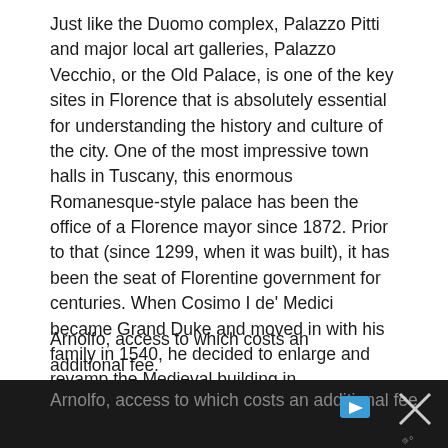Just like the Duomo complex, Palazzo Pitti and major local art galleries, Palazzo Vecchio, or the Old Palace, is one of the key sites in Florence that is absolutely essential for understanding the history and culture of the city. One of the most impressive town halls in Tuscany, this enormous Romanesque-style palace has been the office of a Florence mayor since 1872. Prior to that (since 1299, when it was built), it has been the seat of Florentine government for centuries. When Cosimo I de' Medici became Grand Duke and moved in with his family in 1540, he decided to enlarge and revamp the Medieval building in Renaissance style.
The solid facade is decorated with shields recounting the city's political history, plus adorned with a series of sculptures among which are the likes of Michelangelo's “David”, “Marzocco” – the heraldic lion, symbol of Florence, Donatello's original “Judith and Holofernes” and “Hercules and Cacus”. A standalone attraction within the palace is the Tower of Arnolfo, access to which costs an additional fee.
[Figure (other): Advertisement banner overlay at bottom of page with play button icon and close button]